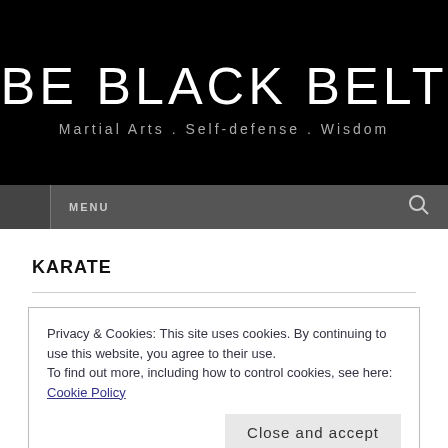BE BLACK BELT
Martial Arts . Self-defense . Wisdom
MENU
KARATE
Privacy & Cookies: This site uses cookies. By continuing to use this website, you agree to their use.
To find out more, including how to control cookies, see here: Cookie Policy
Close and accept